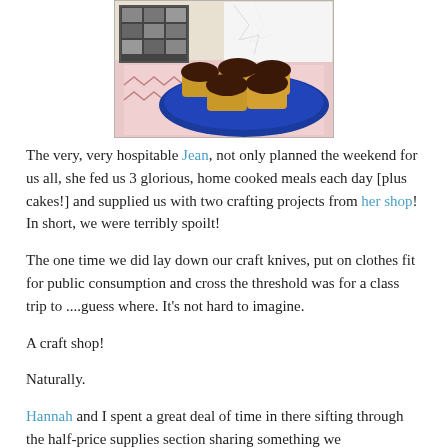[Figure (photo): Photograph of chocolate-frosted cupcakes on a blue plate, with scrapbooking materials and photos in the background on a pink patterned mat.]
The very, very hospitable Jean, not only planned the weekend for us all, she fed us 3 glorious, home cooked meals each day [plus cakes!] and supplied us with two crafting projects from her shop! In short, we were terribly spoilt!
The one time we did lay down our craft knives, put on clothes fit for public consumption and cross the threshold was for a class trip to ....guess where. It's not hard to imagine.
A craft shop!
Naturally.
Hannah and I spent a great deal of time in there sifting through the half-price supplies section sharing something we subsequently referred to as 'rummage